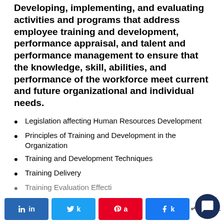Developing, implementing, and evaluating activities and programs that address employee training and development, performance appraisal, and talent and performance management to ensure that the knowledge, skill, abilities, and performance of the workforce meet current and future organizational and individual needs.
Legislation affecting Human Resources Development
Principles of Training and Development in the Organization
Training and Development Techniques
Training Delivery
Training Evaluation Effecti...
in | tweet | pin | share | < SHARE